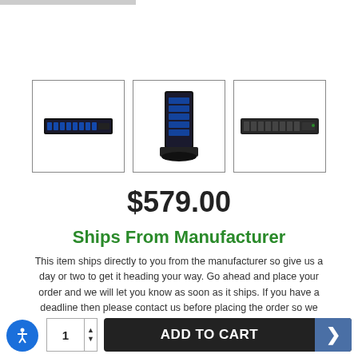[Figure (photo): Three product thumbnail images of server/storage hardware units shown in bordered boxes]
$579.00
Ships From Manufacturer
This item ships directly to you from the manufacturer so give us a day or two to get it heading your way. Go ahead and place your order and we will let you know as soon as it ships. If you have a deadline then please contact us before placing the order so we can meet your expectations.
ADD TO CART